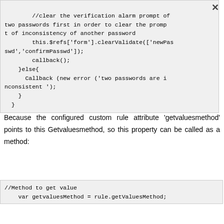[Figure (screenshot): Code block showing JavaScript with clearValidate call, callback, else block with Callback new error for inconsistent passwords, and close button]
Because the configured custom rule attribute 'getvaluesmethod' points to this Getvaluesmethod, so this property can be called as a method:
[Figure (screenshot): Code block showing //Method to get value and var getvaluesMethod = rule.getValuesMethod;]